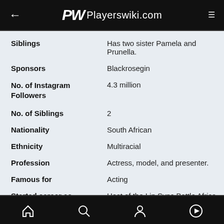PW Playerswiki.com
| Field | Value |
| --- | --- |
| Siblings | Has two sister Pamela and Prunella. |
| Sponsors | Blackrosegin |
| No. of Instagram Followers | 4.3 million |
| No. of Siblings | 2 |
| Nationality | South African |
| Ethnicity | Multiracial |
| Profession | Actress, model, and presenter. |
| Famous for | Acting |
| Started career as | Host of the Lip Sync Battle Africa |
Home Search Profile Play navigation icons